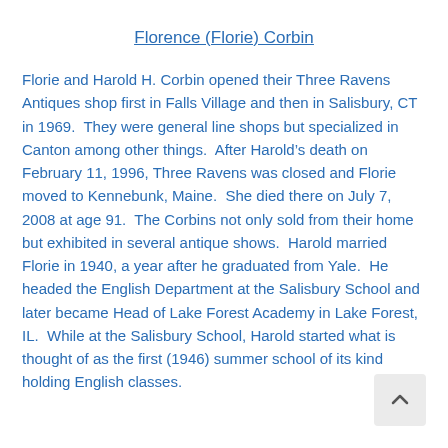Florence (Florie) Corbin
Florie and Harold H. Corbin opened their Three Ravens Antiques shop first in Falls Village and then in Salisbury, CT in 1969.  They were general line shops but specialized in Canton among other things.  After Harold’s death on February 11, 1996, Three Ravens was closed and Florie moved to Kennebunk, Maine.  She died there on July 7, 2008 at age 91.  The Corbins not only sold from their home but exhibited in several antique shows.  Harold married Florie in 1940, a year after he graduated from Yale.  He headed the English Department at the Salisbury School and later became Head of Lake Forest Academy in Lake Forest, IL.  While at the Salisbury School, Harold started what is thought of as the first (1946) summer school of its kind holding English classes.